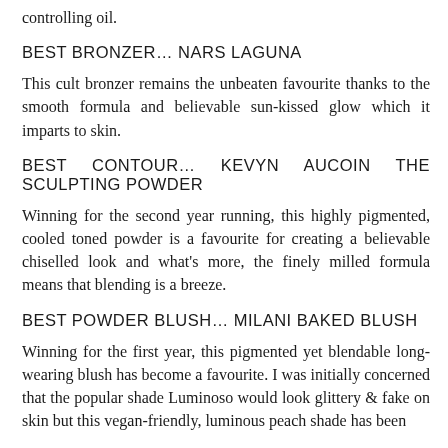controlling oil.
BEST BRONZER… NARS LAGUNA
This cult bronzer remains the unbeaten favourite thanks to the smooth formula and believable sun-kissed glow which it imparts to skin.
BEST CONTOUR… KEVYN AUCOIN THE SCULPTING POWDER
Winning for the second year running, this highly pigmented, cooled toned powder is a favourite for creating a believable chiselled look and what's more, the finely milled formula means that blending is a breeze.
BEST POWDER BLUSH… MILANI BAKED BLUSH
Winning for the first year, this pigmented yet blendable long-wearing blush has become a favourite. I was initially concerned that the popular shade Luminoso would look glittery & fake on skin but this vegan-friendly, luminous peach shade has been